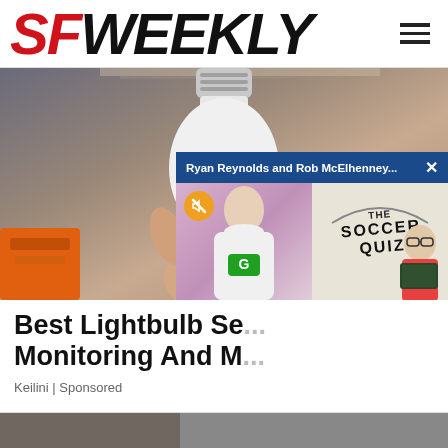[Figure (logo): SF Weekly logo — SF in red italic bold, WEEKLY in black italic bold]
[Figure (photo): A hand holding a white lightbulb-shaped security camera with LED ring, against a blurred indoor background]
[Figure (screenshot): Overlay popup with dark blue header reading 'Ryan Reynolds and Rob McElhenney...' with X close button, left panel showing a man in white shirt on pink background with muted audio icon, right panel showing The Soccer Quiz logo with a man in glasses]
Best Lightbulb Se... Monitoring And M...
Keilini | Sponsored
[Figure (photo): Partial image at bottom of page, partially visible]